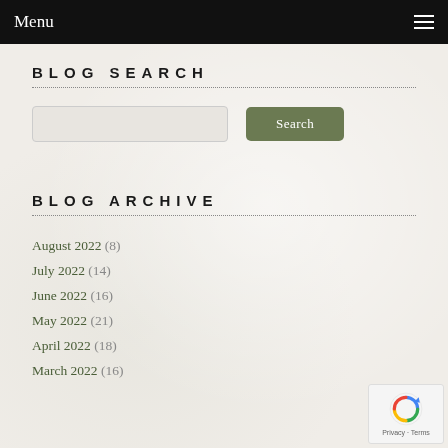Menu
BLOG SEARCH
BLOG ARCHIVE
August 2022 (8)
July 2022 (14)
June 2022 (16)
May 2022 (21)
April 2022 (18)
March 2022 (16)